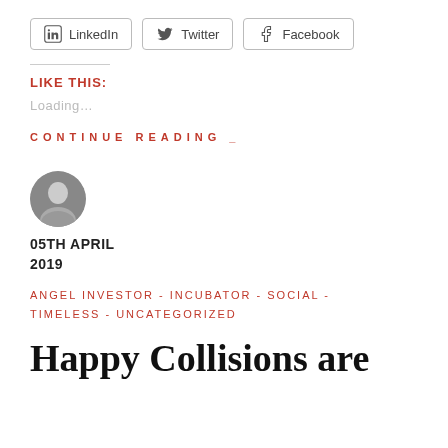[Figure (other): Social share buttons: LinkedIn, Twitter, Facebook]
LIKE THIS:
Loading...
CONTINUE READING _
[Figure (photo): Author avatar - circular black and white headshot]
05TH APRIL
2019
ANGEL INVESTOR - INCUBATOR - SOCIAL - TIMELESS - UNCATEGORIZED
Happy Collisions are